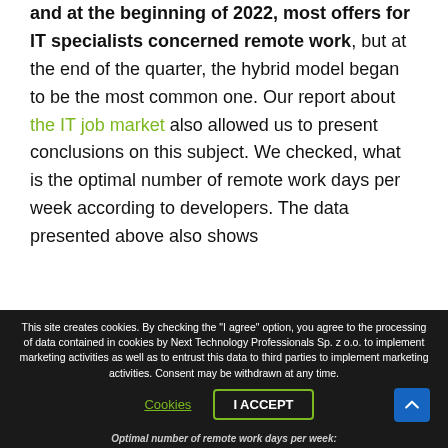and at the beginning of 2022, most offers for IT specialists concerned remote work, but at the end of the quarter, the hybrid model began to be the most common one. Our report about the IT job market also allowed us to present conclusions on this subject. We checked, what is the optimal number of remote work days per week according to developers. The data presented above also shows the popularity of these working modes – in the hybrid... work...
This site creates cookies. By checking the "I agree" option, you agree to the processing of data contained in cookies by Next Technology Professionals Sp. z o.o. to implement marketing activities as well as to entrust this data to third parties to implement marketing activities. Consent may be withdrawn at any time.
Cookies | I ACCEPT
Optimal number of remote work days per week: